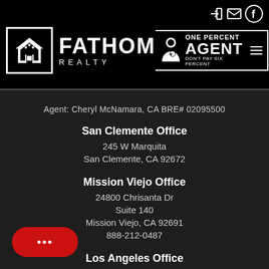[Figure (logo): Fathom Realty logo with house icon and One Percent Agent badge on black header bar]
Agent: Cheryl McNamara, CA BRE# 02095500
San Clemente Office
245 W Marquita
San Clemente, CA 92672
Mission Viejo Office
24800 Chrisanta Dr
Suite 140
Mission Viejo, CA 92691
888-212-0487
Los Angeles Office
6628 W 87th PL
Los Angeles, CA 90045
800-883-6905